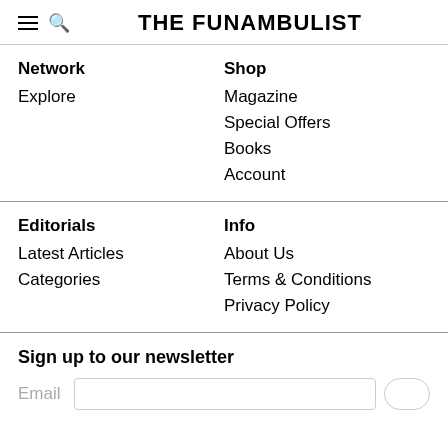THE FUNAMBULIST
Network
Explore
Shop
Magazine
Special Offers
Books
Account
Editorials
Latest Articles
Categories
Info
About Us
Terms & Conditions
Privacy Policy
Sign up to our newsletter
Email